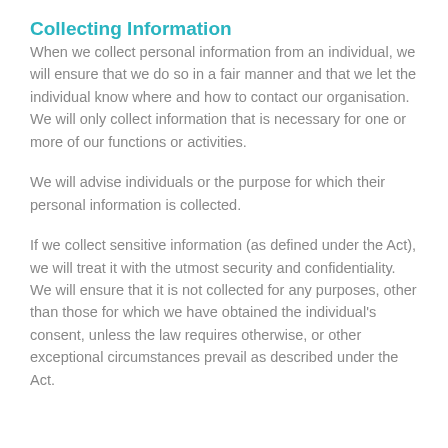Collecting Information
When we collect personal information from an individual, we will ensure that we do so in a fair manner and that we let the individual know where and how to contact our organisation. We will only collect information that is necessary for one or more of our functions or activities.
We will advise individuals or the purpose for which their personal information is collected.
If we collect sensitive information (as defined under the Act), we will treat it with the utmost security and confidentiality. We will ensure that it is not collected for any purposes, other than those for which we have obtained the individual's consent, unless the law requires otherwise, or other exceptional circumstances prevail as described under the Act.